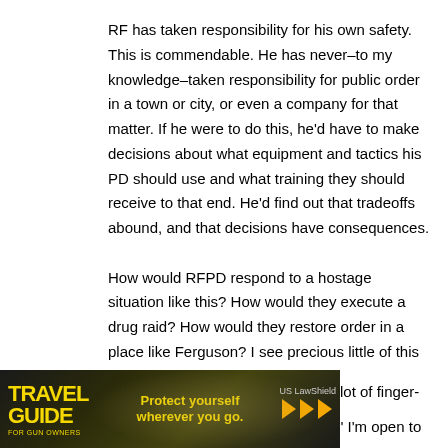RF has taken responsibility for his own safety. This is commendable. He has never–to my knowledge–taken responsibility for public order in a town or city, or even a company for that matter. If he were to do this, he'd have to make decisions about what equipment and tactics his PD should use and what training they should receive to that end. He'd find out that tradeoffs abound, and that decisions have consequences.

How would RFPD respond to a hostage situation like this? How would they execute a drug raid? How would they restore order in a place like Ferguson? I see precious little of this … lot of finger-
" I'm open to
[Figure (photo): Advertisement banner for Travel Guide for Gun Owners, featuring 'Protect yourself wherever you go.' tagline with US LawShield branding, yellow text on dark background with light burst imagery]